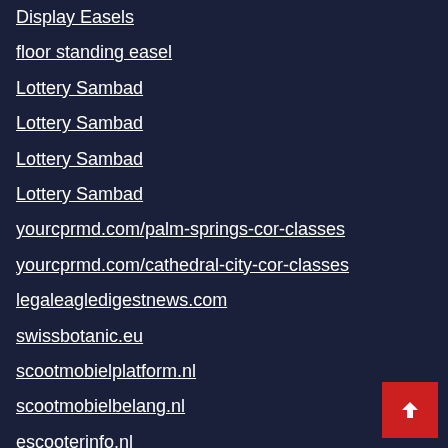Display Easels
floor standing easel
Lottery Sambad
Lottery Sambad
Lottery Sambad
Lottery Sambad
yourcprmd.com/palm-springs-cor-classes
yourcprmd.com/cathedral-city-cor-classes
legaleagledigestnews.com
swissbotanic.eu
scootmobielplatform.nl
scootmobielbelang.nl
escooterinfo.nl
brommobielaanbod.nl
scootersite.nl